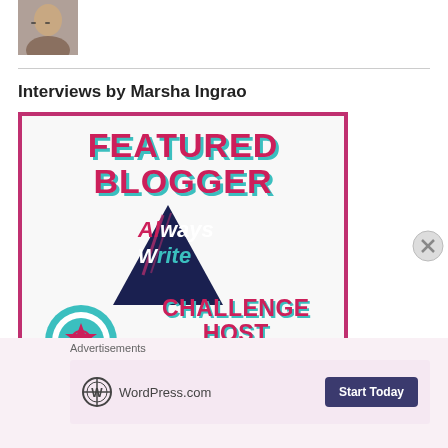[Figure (photo): Small profile photo of a person wearing glasses, cropped head/shoulders shot]
Interviews by Marsha Ingrao
[Figure (illustration): Featured Blogger badge image with text: FEATURED BLOGGER, Always Write logo with dark triangle, a ribbon/award icon, and CHALLENGE HOST INTERVIEW text. Pink/crimson and teal color scheme.]
Advertisements
[Figure (screenshot): WordPress.com advertisement banner with WordPress logo and 'Start Today' button on a light pink background]